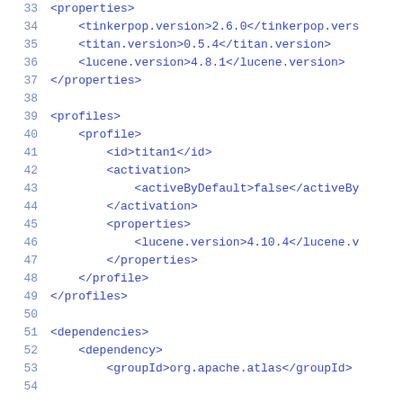33    <properties>
34        <tinkerpop.version>2.6.0</tinkerpop.vers
35        <titan.version>0.5.4</titan.version>
36        <lucene.version>4.8.1</lucene.version>
37    </properties>
38
39    <profiles>
40        <profile>
41            <id>titan1</id>
42            <activation>
43                <activeByDefault>false</activeBy
44            </activation>
45            <properties>
46                <lucene.version>4.10.4</lucene.v
47            </properties>
48        </profile>
49    </profiles>
50
51    <dependencies>
52        <dependency>
53            <groupId>org.apache.atlas</groupId>
54            ...